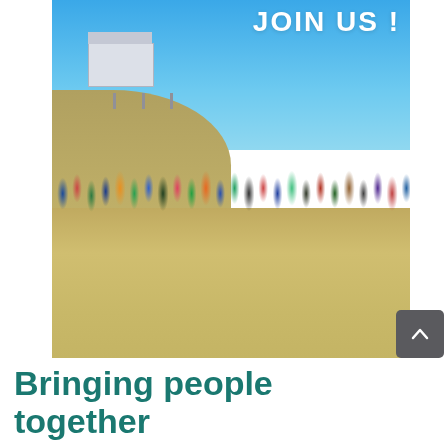[Figure (photo): A large group of people gathered on a beach, waving and posing for a group photo. Behind them is a sandy hill with a lifeguard station building. The sky is bright blue. The text 'JOIN US!' appears in large white bold letters in the upper right of the photo.]
Bringing people together